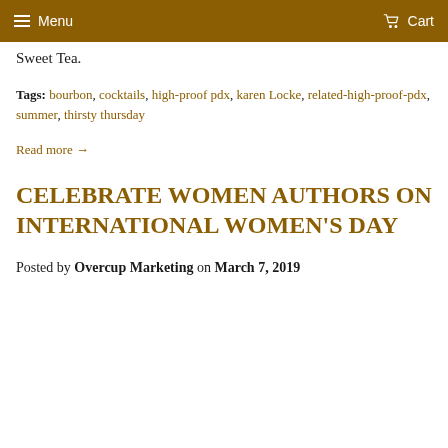Menu  Cart
Sweet Tea.
Tags: bourbon, cocktails, high-proof pdx, karen Locke, related-high-proof-pdx, summer, thirsty thursday
Read more →
CELEBRATE WOMEN AUTHORS ON INTERNATIONAL WOMEN'S DAY
Posted by Overcup Marketing on March 7, 2019